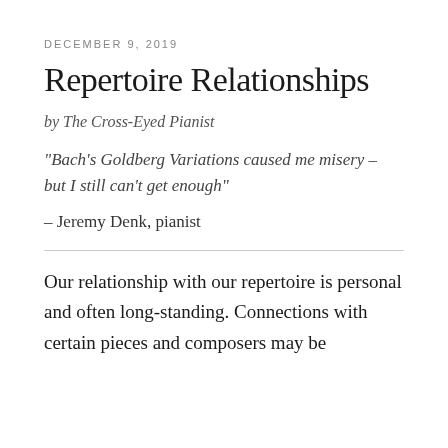DECEMBER 9, 2019
Repertoire Relationships
by The Cross-Eyed Pianist
“Bach’s Goldberg Variations caused me misery – but I still can’t get enough”
– Jeremy Denk, pianist
Our relationship with our repertoire is personal and often long-standing. Connections with certain pieces and composers may be